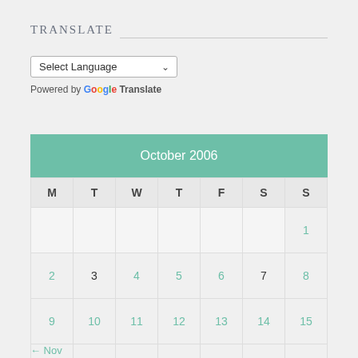TRANSLATE
Select Language (dropdown) Powered by Google Translate
| October 2006 |  |  |  |  |  |  |
| --- | --- | --- | --- | --- | --- | --- |
| M | T | W | T | F | S | S |
|  |  |  |  |  |  | 1 |
| 2 | 3 | 4 | 5 | 6 | 7 | 8 |
| 9 | 10 | 11 | 12 | 13 | 14 | 15 |
| 16 | 17 | 18 | 19 | 20 | 21 | 22 |
| 23 | 24 | 25 | 26 | 27 | 28 | 29 |
| 30 | 31 |  |  |  |  |  |